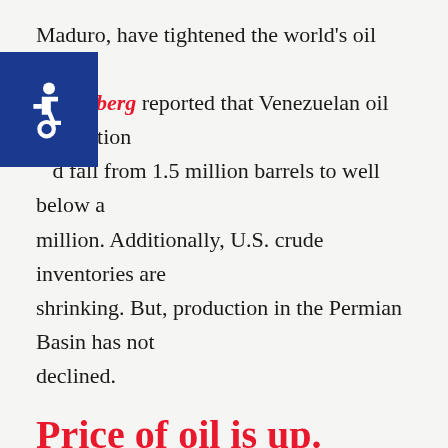Maduro, have tightened the world's oil supply. Bloomberg reported that Venezuelan oil production could fall from 1.5 million barrels to well below a million. Additionally, U.S. crude inventories are shrinking. But, production in the Permian Basin has not declined.
Price of oil is up.
The current geopolitical landscape creates an opportunity for the Permian Basin. Because the supply of oil is tightening, the price of oil is being driven higher to keep up with demand. So now oil producers in the Permian Basin are making more many than ever. Also, oil production has become more efficient in the basin, so the profit margins are high for oil